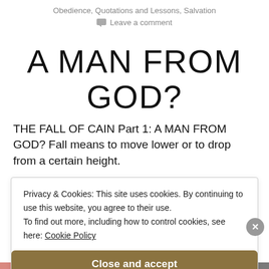Obedience, Quotations and Lessons, Salvation
Leave a comment
A MAN FROM GOD?
THE FALL OF CAIN Part 1: A MAN FROM GOD? Fall means to move lower or to drop from a certain height.
Privacy & Cookies: This site uses cookies. By continuing to use this website, you agree to their use.
To find out more, including how to control cookies, see here: Cookie Policy
Close and accept